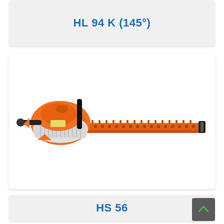HL 94 K (145°)
[Figure (photo): STIHL HS 56 hedge trimmer with orange and white body, long double-sided blade extending to the right, black auxiliary handle on top]
HS 56